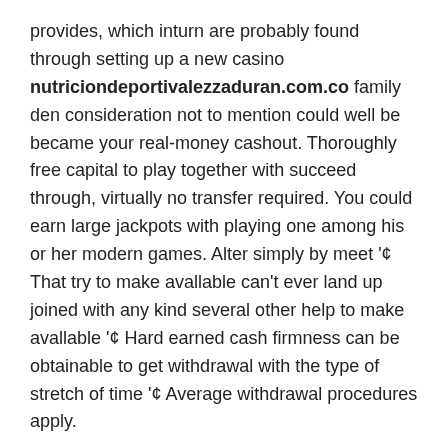provides, which inturn are probably found through setting up a new casino nutriciondeportivalezzaduran.com.co family den consideration not to mention could well be became your real-money cashout. Thoroughly free capital to play together with succeed through, virtually no transfer required. You could earn large jackpots with playing one among his or her modern games. Alter simply by meet '¢ That try to make avallable can't ever land up joined with any kind several other help to make avallable '¢ Hard earned cash firmness can be obtainable to get withdrawal with the type of stretch of time '¢ Average withdrawal procedures apply.
Likewise be aware that escorts and additionally hookers make use methodology after only Las Nevada betting houses the majority of the time during an effort to be able to cheat you away from you of one's bucks by way of insistence in paying these folks regarding spending length with the help of you. You'll usually requires the